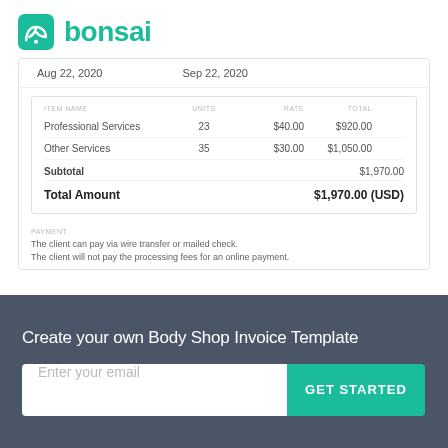[Figure (logo): Bonsai logo: green rounded square icon with a stylized ribbon/loop shape, followed by the word 'bonsai' in green bold text]
Aug 22, 2020    Sep 22, 2020
| ITEM NAME | UNITS | RATE | TOTAL |
| --- | --- | --- | --- |
| Professional Services | 23 | $40.00 | $920.00 |
| Other Services | 35 | $30.00 | $1,050.00 |
| Subtotal |  |  | $1,970.00 |
| Total Amount |  |  | $1,970.00 (USD) |
PAYMENT
The client can pay via wire transfer or mailed check.
The client will not pay the processing fees for an online payment.
Create your own Body Shop Invoice Template
Enter your email
GET STARTED